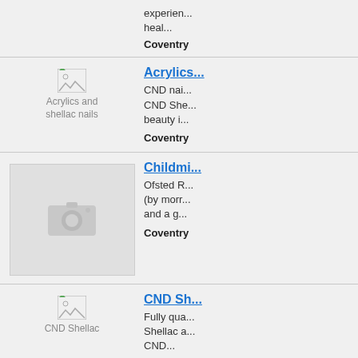experien... heal...
Coventry
[Figure (photo): Small broken image thumbnail labeled 'Acrylics and shellac nails']
Acrylics...
CND nai... CND She... beauty i...
Coventry
[Figure (photo): Camera placeholder image (no photo available)]
Childmi...
Ofsted R... (by morr... and a g...
Coventry
[Figure (photo): Small broken image thumbnail labeled 'CND Shellac']
CND Sh...
Fully qua... Shellac a... CND...
Coventry
Disserta...
I am a re...